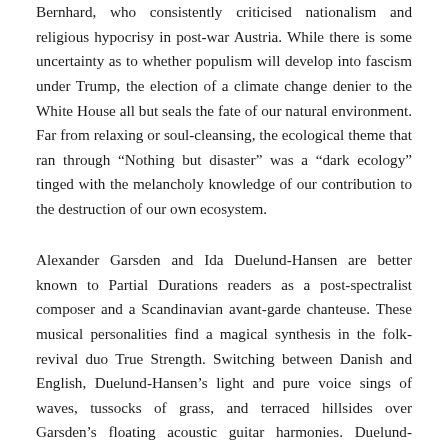Bernhard, who consistently criticised nationalism and religious hypocrisy in post-war Austria. While there is some uncertainty as to whether populism will develop into fascism under Trump, the election of a climate change denier to the White House all but seals the fate of our natural environment. Far from relaxing or soul-cleansing, the ecological theme that ran through “Nothing but disaster” was a “dark ecology” tinged with the melancholy knowledge of our contribution to the destruction of our own ecosystem.
Alexander Garsden and Ida Duelund-Hansen are better known to Partial Durations readers as a post-spectralist composer and a Scandinavian avant-garde chanteuse. These musical personalities find a magical synthesis in the folk-revival duo True Strength. Switching between Danish and English, Duelund-Hansen’s light and pure voice sings of waves, tussocks of grass, and terraced hillsides over Garsden’s floating acoustic guitar harmonies. Duelund-Hansen’s double bass part journeys along in melodic counterpoint. The overall sound is reminiscent of Alela Diane